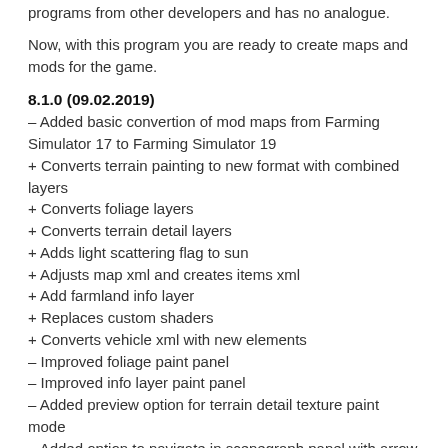programs from other developers and has no analogue.
Now, with this program you are ready to create maps and mods for the game.
8.1.0 (09.02.2019)
– Added basic convertion of mod maps from Farming Simulator 17 to Farming Simulator 19
+ Converts terrain painting to new format with combined layers
+ Converts foliage layers
+ Converts terrain detail layers
+ Adds light scattering flag to sun
+ Adjusts map xml and creates items xml
+ Add farmland info layer
+ Replaces custom shaders
+ Converts vehicle xml with new elements
– Improved foliage paint panel
– Improved info layer paint panel
– Added preview option for terrain detail texture paint mode
– Added option to navigate in scenegraph panel with arrow keys